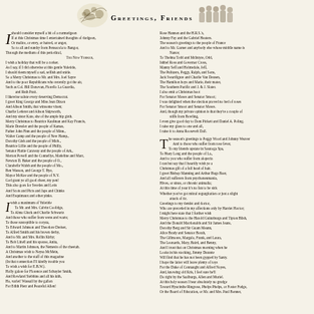GREETINGS, FRIENDS
[Figure (illustration): Decorative illustration top left: floral/cherub motif in black and white]
[Figure (illustration): Decorative illustration top right: group of people/carolers in black and white]
I should consider myself a bit of a curmudgeon If at this Christmas time I entertained thoughts of dudgeon, Or malice, or envy, or hatred, or anger, So to all and sundry from Pensacola to Bangor, Through the medium of this periodical, THE NEW YORKER, I wish a holiday that will be a corker. As I say, if I did otherwise at this gentle Yuletide, I should deem myself a sad, selfish and snide. So a Merry Christmas to Mr. and Mrs. Joel Sayre And to the poor Republicans who recently got the air, Such as Col. Bill Donovan, Fiorello La Guardia, and Ruth Pratt. I likewise salute every deserving Democrat. I greet King George and Miss Jean Dixon And Alison Smith, that winsome vixen; Charlie Lederer and Alison Skipworth, And my sister Kate, she of the ample hip girth. Merry Christmas to Beatrice Kaufman and Kay Francis, Marie Dressler and the people of Kamas, Father John Finn and the people of Minn., Walter Camp and the people of New Hamp., Dorothy Gish and the people of Mich., Beatrice Lillie and the people of Philly, Senator Hattie Caraway and the people of Ark., Merton Powell and the Connellys, Madeline and Marc, Newton D. Baker and the people of O., Clarabelle Walsh and the people of Mo., Ben Wasson, and George T. Bye, Mayor McKee and the people of N.Y. God grant ye all good cheer, my pen! This also goes for Swedes and Letts And Scots and Picts and Japs and Chinks And Esquimaux and other pinks.
I wish a maximum of Yuletide To Mr. and Mrs. Calvin Coolidge, To Alma Gluck and Charlie Schwartz And those who suffer from wens and warts; To those susceptible to coryza, To Edward Johnson and Theodore Dreiser, To Alfred Smith and his brown derby, And to Mr. and Mrs. Rollin Kirby; To Bob Littell and his spouse, Anita, And to Martin Johnson, the Nemesis of the cheetah. A Christmas wish to Neysa McMein, And another to the staff of this magazine (In that connection I'll kindly trouble you To wish a wish for E.B.W.). Holly galore for Florence and Schuyler Smith, And Rowland Stebbins and all his kith, Ho, varlet! Wassail by the gallon For Edith Pierr and Peaceful Allen!
Rose Hannon and the H.R.S.'s, Johnny Fay and the Gabriel Heaters. The season's greetings to the people of France And to Mr. Garner and anybody else whose middle name is Nance; To Thelma Todd and McIntyre, Odd, Ishbel Ross and Governor Cross, Manny Seff and Holmsdale, Jeff, The Pulitzers, Peggy, Ralph, and Sons, Jack Swartfigure and Charlie Van Deusen, The Hamilton boys and Marie, their mater, The Southern Pacific and J. & J. Slater. I also emit a Christmas hoot For Senator Moses and Senator Smoot; I was delighted when the election proved no bed of roses For Senator Smoot and Senator Moses. And, though my private opinion is that they're a couple of stiffs from Bowling, I even give good day to Dom Pickett and Daniel A. Poling. I raise my glass to one and all, I raise it to Anna Roosevelt Dall.
The season's greetings to Peggy Wood and Johnny Weaver And to those who suffer from rose fever, To my friends upstate in Saratoga Spa, To Huey Long and the people of La., And to you who suffer from alopecia I can but say that I heartily wish ye a Christmas gift of a full head of hair. I greet Bishop Manning and Arthur Bugs Baer, And all sufferers from psychoneumania, Hives, or sinus, or chronic animalia; At this time of year it's no fun to be sick Whether you've got mitral regurgitation or just a slight attack of tic. Greetings to my dentist and doctor, Who are preceded in my affections only by Harriet Hoctor; I might here state that I further wish Merry Christmas to the Harold Guinzburgs and Tipton Blish, And the Donald Macdonalds and Sir James Jeans, Dorothy Berg and Sir Guam Meann, Alice Brady and Senator Borah, The Gillmores, Margalo, Frank, and Laura, The Leonards, Mary, Baird, and Benny, And I trust that on Christmas morning when he Looks in his stocking, Jimmy Durante Will find that he has not been gypped by Santy. I hope the latter will leave plenty of toys For the Duke of Connaught and Alfred Noyes, And, knowing old Kris, I feel sure he'll Do right by the Saalburgs, Allen and Muriel. At this holy season I bear absolutely no grudge Toward Hyacinthe Ringrose, Phelps Phelps, or Foster Fudge, Or the Board of Education, or Mr. and Mrs. Paul Bonner,